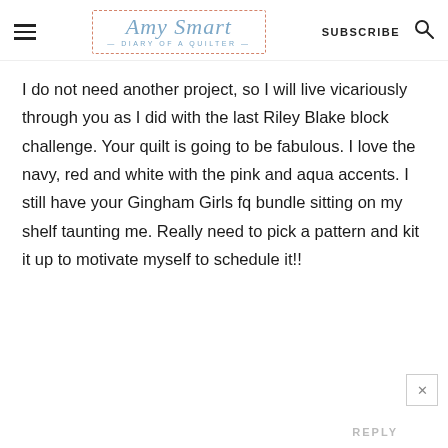Amy Smart — DIARY of a QUILTER — SUBSCRIBE
I do not need another project, so I will live vicariously through you as I did with the last Riley Blake block challenge. Your quilt is going to be fabulous. I love the navy, red and white with the pink and aqua accents. I still have your Gingham Girls fq bundle sitting on my shelf taunting me. Really need to pick a pattern and kit it up to motivate myself to schedule it!!